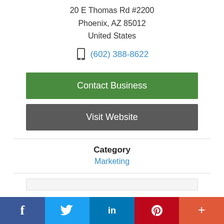20 E Thomas Rd #2200
Phoenix, AZ 85012
United States
(602) 388-8622
Contact Business
Visit Website
Category
Marketing